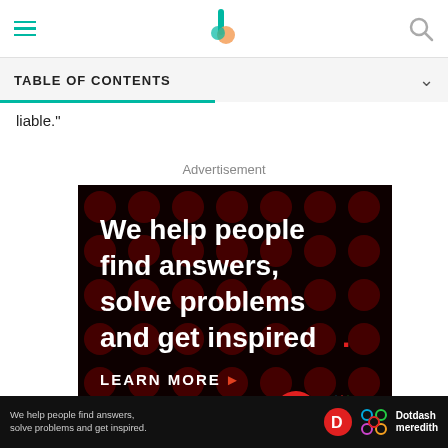TABLE OF CONTENTS
liable."
Advertisement
[Figure (illustration): Dotdash Meredith advertisement on black background with dark red polka dots. Large white bold text reads: 'We help people find answers, solve problems and get inspired.' with a red period. Below: 'LEARN MORE' with arrow. Bottom right shows Dotdash (D logo in red circle) and Meredith (colorful flower knot logo).]
We help people find answers, solve problems and get inspired.  Dotdash meredith